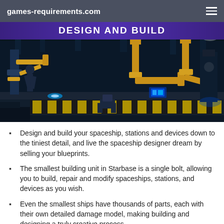games-requirements.com
[Figure (screenshot): Screenshot from Starbase game showing a sci-fi factory floor with robotic arms and machinery in a dark industrial setting, with 'DESIGN AND BUILD' title banner at top]
Design and build your spaceship, stations and devices down to the tiniest detail, and live the spaceship designer dream by selling your blueprints.
The smallest building unit in Starbase is a single bolt, allowing you to build, repair and modify spaceships, stations, and devices as you wish.
Even the smallest ships have thousands of parts, each with their own detailed damage model, making building and designing a truly creative process.